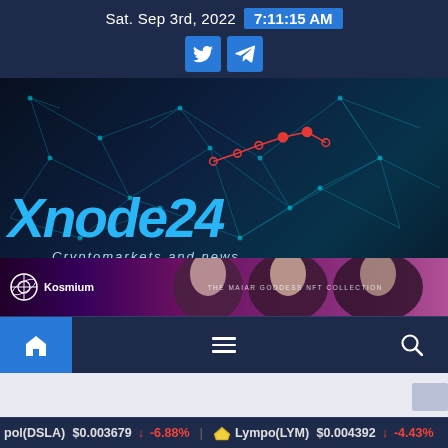Sat. Sep 3rd, 2022  7:11:15 AM
[Figure (logo): Xnode24 Cryptomarkets and news banner with network graph overlay and line chart, Kosmium ad banner with goddess faces]
[Figure (screenshot): Navigation bar with home icon (blue background), hamburger menu, and search icon on dark navy background]
pol(DSLA) $0.003679 ↓ -6.88%  Lympo(LYM) $0.004392 ↓ -4.43%